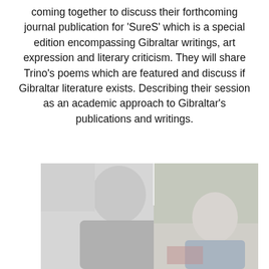coming together to discuss their forthcoming journal publication for 'SureS' which is a special edition encompassing Gibraltar writings, art expression and literary criticism. They will share Trino's poems which are featured and discuss if Gibraltar literature exists. Describing their session as an academic approach to Gibraltar's publications and writings.
[Figure (photo): Two people photographed side by side. On the left, a man facing the camera; on the right, a woman in an outdoor setting with foliage visible in the background. The image appears faded/washed out.]